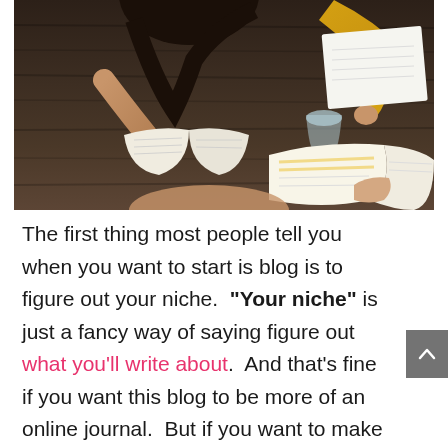[Figure (photo): Overhead view of two people studying at a dark wooden table with open books and notebooks]
The first thing most people tell you when you want to start is blog is to figure out your niche.  “Your niche” is just a fancy way of saying figure out what you'll write about.  And that’s fine if you want this blog to be more of an online journal.  But if you want to make